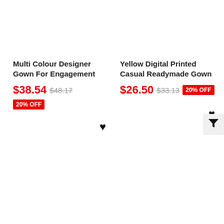Multi Colour Designer Gown For Engagement
$38.54  $48.17  20% OFF
Yellow Digital Printed Casual Readymade Gown
$26.50  $33.13  20% OFF